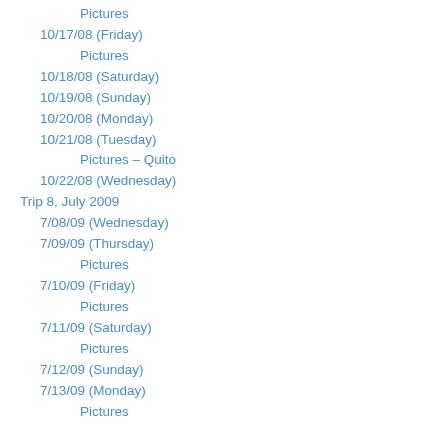Pictures
10/17/08 (Friday)
Pictures
10/18/08 (Saturday)
10/19/08 (Sunday)
10/20/08 (Monday)
10/21/08 (Tuesday)
Pictures – Quito
10/22/08 (Wednesday)
Trip 8, July 2009
7/08/09 (Wednesday)
7/09/09 (Thursday)
Pictures
7/10/09 (Friday)
Pictures
7/11/09 (Saturday)
Pictures
7/12/09 (Sunday)
7/13/09 (Monday)
Pictures